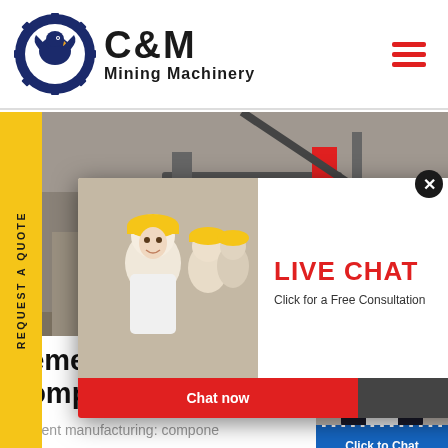[Figure (logo): C&M Mining Machinery logo with eagle/gear icon]
[Figure (photo): Hero banner showing mining/construction equipment and workers in hard hats]
[Figure (screenshot): Live Chat popup overlay with worker photo, LIVE CHAT heading, Chat now and Chat later buttons]
[Figure (photo): Right sidebar showing customer service agent with headset, Click to Chat button, and Enquiry section]
cement manufacturing components of a cemen
Cement manufacturing: compone